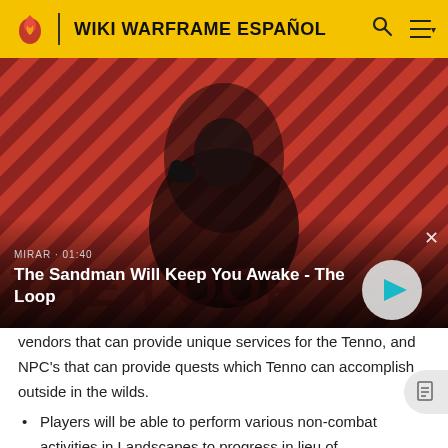WIKI WARFRAME ESPAÑOL
[Figure (screenshot): Video thumbnail showing a dark-cloaked figure with a raven on shoulder against a red and dark diagonal striped background. Text overlay reads 'MIRAR · 01:40' and title 'The Sandman Will Keep You Awake - The Loop' with a play button.]
vendors that can provide unique services for the Tenno, and NPC's that can provide quests which Tenno can accomplish outside in the wilds.
Players will be able to perform various non-combat activities in Landscapes to progress in lieu of